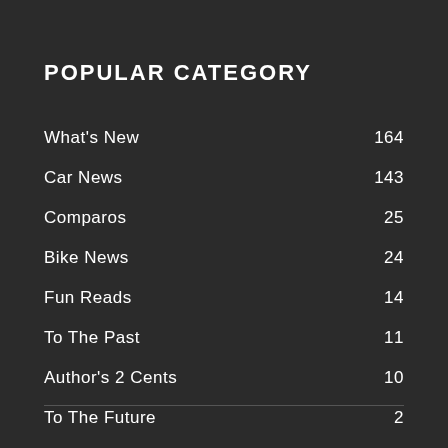POPULAR CATEGORY
What's New   164
Car News   143
Comparos   25
Bike News   24
Fun Reads   14
To The Past   11
Author's 2 Cents   10
To The Future   2